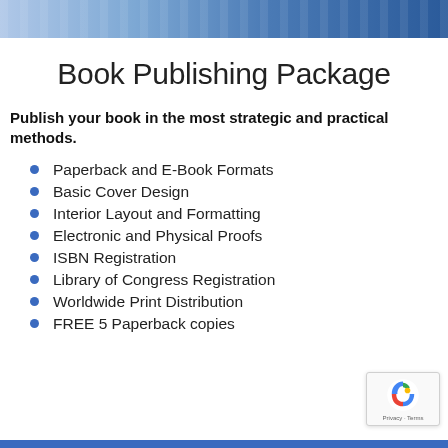[Figure (photo): Banner image showing books on shelves with blue gradient overlay at the top of the page]
Book Publishing Package
Publish your book in the most strategic and practical methods.
Paperback and E-Book Formats
Basic Cover Design
Interior Layout and Formatting
Electronic and Physical Proofs
ISBN Registration
Library of Congress Registration
Worldwide Print Distribution
FREE 5 Paperback copies